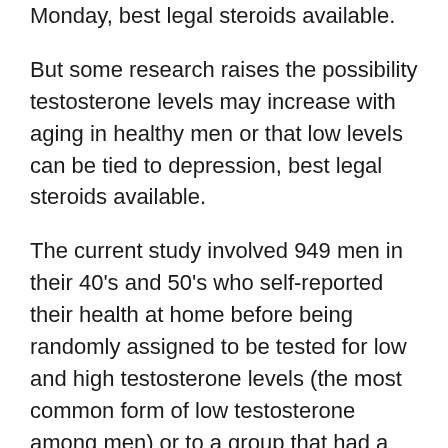Monday, best legal steroids available.
But some research raises the possibility testosterone levels may increase with aging in healthy men or that low levels can be tied to depression, best legal steroids available.
The current study involved 949 men in their 40's and 50's who self-reported their health at home before being randomly assigned to be tested for low and high testosterone levels (the most common form of low testosterone among men) or to a group that had a normal baseline testosterone level.
Results showed that men who were told they were receiving medication for low testosterone levels tended to show lower energy or weight, a history of depression or anxiety and more testosterone decline